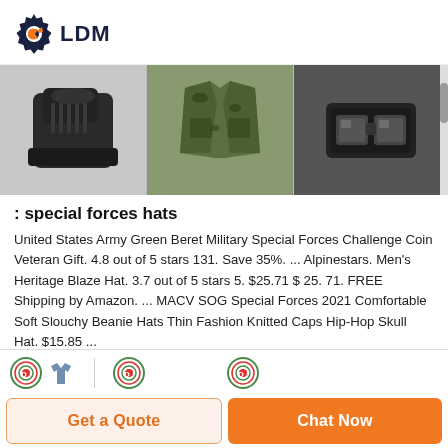[Figure (logo): LDM logo with gear icon and orange wrench]
[Figure (photo): Product images strip showing black military boots, camouflage vest/jacket, and a black lens/accessory item with a scrollbar on the right]
: special forces hats
United States Army Green Beret Military Special Forces Challenge Coin Veteran Gift. 4.8 out of 5 stars 131. Save 35%. ... Alpinestars. Men's Heritage Blaze Hat. 3.7 out of 5 stars 5. $25.71 $ 25. 71. FREE Shipping by Amazon. ... MACV SOG Special Forces 2021 Comfortable Soft Slouchy Beanie Hats Thin Fashion Knitted Caps Hip-Hop Skull Hat. $15.85 ...
[Figure (screenshot): Bottom icons row with circular target/badge icons and a shirt icon]
Get a Quote
Chat Now